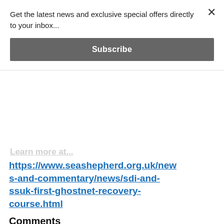Get the latest news and exclusive special offers directly to your inbox...
Subscribe
https://www.seashepherd.org.uk/news-and-commentary/news/sdi-and-ssuk-first-ghostnet-recovery-course.html
Comments
Ghost Fishing
ghost gear
Ghost Net Recovery Course
SDI
SDI Instructors
Sea Shepherd UK